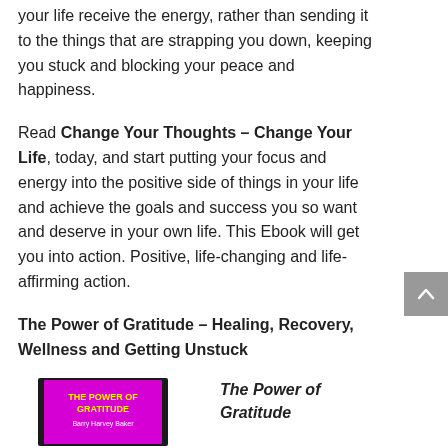your life receive the energy, rather than sending it to the things that are strapping you down, keeping you stuck and blocking your peace and happiness.
Read Change Your Thoughts – Change Your Life, today, and start putting your focus and energy into the positive side of things in your life and achieve the goals and success you so want and deserve in your own life. This Ebook will get you into action. Positive, life-changing and life-affirming action.
The Power of Gratitude – Healing, Recovery, Wellness and Getting Unstuck
[Figure (photo): Book cover of 'The Power of Gratitude' with a magenta/pink background and yellow title text]
The Power of Gratitude